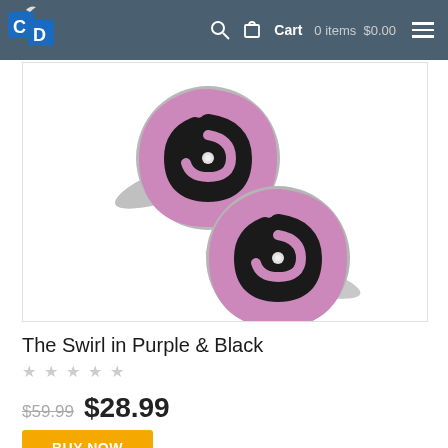CD Cart 0 items $0.00
[Figure (photo): Two silver cufflinks with black and purple/pink swirl enamel design on white background]
The Swirl in Purple & Black
★★★★★ (empty stars rating)
$59.99  $28.99
BUY NOW